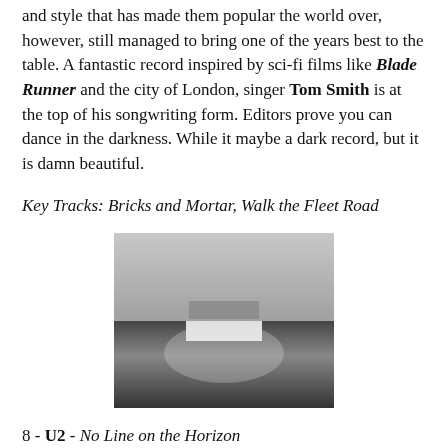and style that has made them popular the world over, however, still managed to bring one of the years best to the table. A fantastic record inspired by sci-fi films like Blade Runner and the city of London, singer Tom Smith is at the top of his songwriting form. Editors prove you can dance in the darkness. While it maybe a dark record, but it is damn beautiful.
Key Tracks: Bricks and Mortar, Walk the Fleet Road
[Figure (photo): Black and white album cover image showing a minimalist landscape with two rectangular shapes — a smaller dark rectangle above a brighter white rectangle — against a misty grey background with a dark horizon line.]
8 - U2 - No Line on the Horizon
The biggest band in the world decided to prove their worth